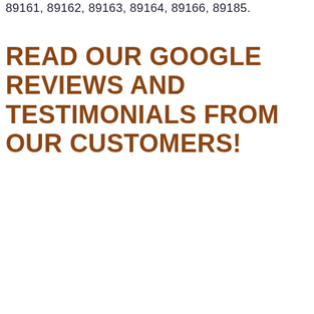89161, 89162, 89163, 89164, 89166, 89185.
READ OUR GOOGLE REVIEWS AND TESTIMONIALS FROM OUR CUSTOMERS!